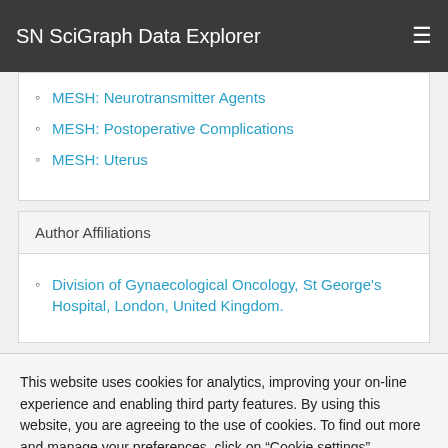SN SciGraph Data Explorer
MESH: Neurotransmitter Agents
MESH: Postoperative Complications
MESH: Uterus
Author Affiliations
Division of Gynaecological Oncology, St George's Hospital, London, United Kingdom.
This website uses cookies for analytics, improving your on-line experience and enabling third party features. By using this website, you are agreeing to the use of cookies. To find out more and manage your preferences, click on “Cookie settings”.